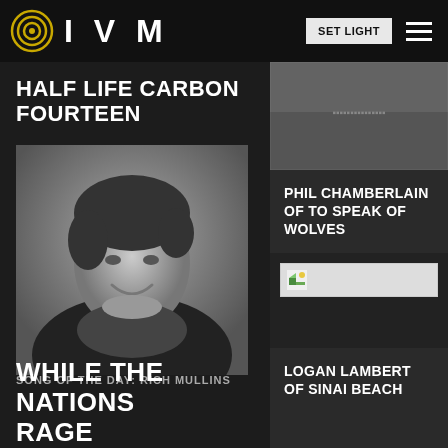IVM
HALF LIFE CARBON FOURTEEN
[Figure (photo): Black and white portrait photograph of a man smiling, resting his chin on his hand]
[Figure (photo): Top right image - partially visible, appears dark/grainy]
PHIL CHAMBERLAIN OF TO SPEAK OF WOLVES
[Figure (photo): Small thumbnail image placeholder on right column]
LOGAN LAMBERT OF SINAI BEACH
SONG OF THE DAY: RICH MULLINS
WHILE THE NATIONS RAGE